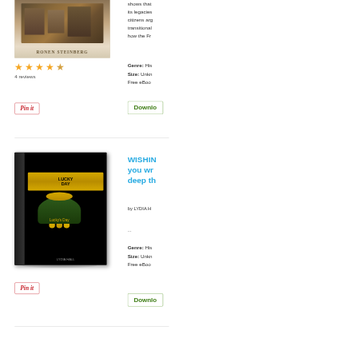[Figure (photo): Book cover (cropped) - appears to be a historical illustration with text 'RONEN STEINBERG' at bottom]
shows that... its legacies... citizens arg... transitional... how the Fr...
★★★★½
4 reviews
Genre: His...
Size: Unkn...
Free eBoo...
[Figure (illustration): Pin it button for first book]
[Figure (illustration): Download button for first book]
[Figure (photo): Book cover - black cover with gold pot of gold / Lucky Day design, by LYDIA H]
WISHIN... you wr... deep th...
by LYDIA H
...
Genre: His...
Size: Unkn...
Free eBoo...
[Figure (illustration): Pin it button for second book]
[Figure (illustration): Download button for second book]